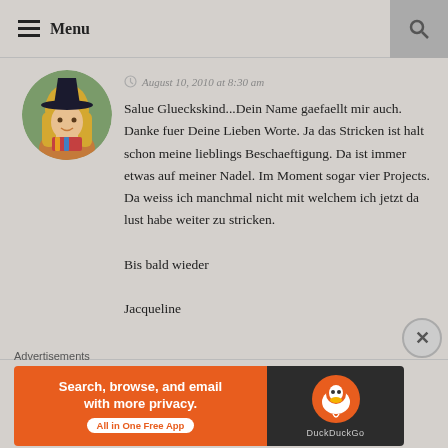Menu
August 10, 2010 at 8:30 am
[Figure (photo): Avatar photo of a blonde woman wearing a dark witch hat, outdoors in a garden setting]
Salue Glueckskind...Dein Name gaefaellt mir auch. Danke fuer Deine Lieben Worte. Ja das Stricken ist halt schon meine lieblings Beschaeftigung. Da ist immer etwas auf meiner Nadel. Im Moment sogar vier Projects. Da weiss ich manchmal nicht mit welchem ich jetzt da lust habe weiter zu stricken. Bis bald wieder
Jacqueline
Like
Advertisements
[Figure (screenshot): DuckDuckGo advertisement banner: 'Search, browse, and email with more privacy. All in One Free App' with DuckDuckGo logo on dark background]